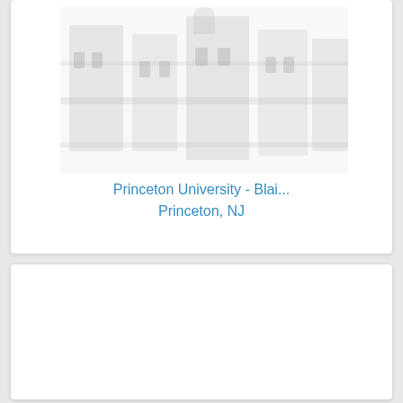[Figure (photo): Faded/ghosted image placeholder of a building, likely Princeton University Blair Hall, shown in light gray tones]
Princeton University - Blai...
Princeton, NJ
[Figure (photo): Second card with mostly blank/white content area, bottom half of the page]